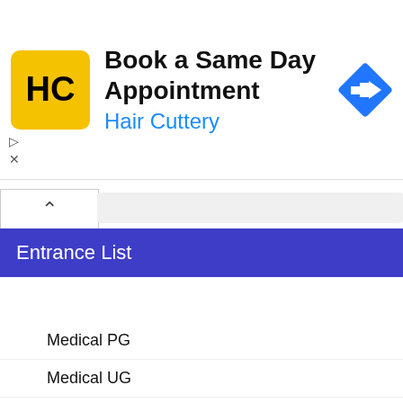[Figure (screenshot): Hair Cuttery advertisement banner with yellow logo, 'Book a Same Day Appointment' heading, 'Hair Cuttery' subtitle in blue, and a blue diamond-shaped arrow icon]
Entrance List
Medical PG
Medical UG
Engineering
MBA
Law
MCA
Fashion
Science
Pharmacy